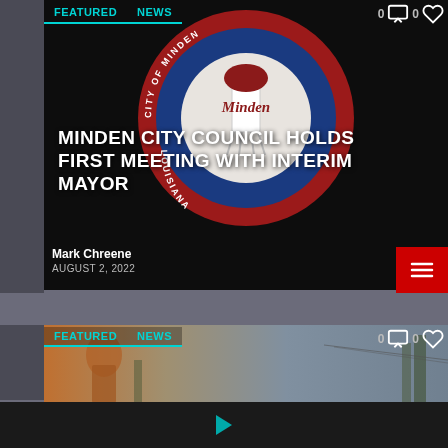FEATURED   NEWS   0 [comment] 0 [heart]
[Figure (photo): City of Minden Louisiana official seal/logo on dark background - circular red outer ring with blue inner ring, white center showing water tower, text reading CITY OF MINDEN LOUISIANA around the ring]
MINDEN CITY COUNCIL HOLDS FIRST MEETING WITH INTERIM MAYOR
Mark Chreene
AUGUST 2, 2022
[Figure (photo): Partial image of outdoor scene, appears to show people and trees, bottom portion of page]
0 [comment] 0 [heart] ▶